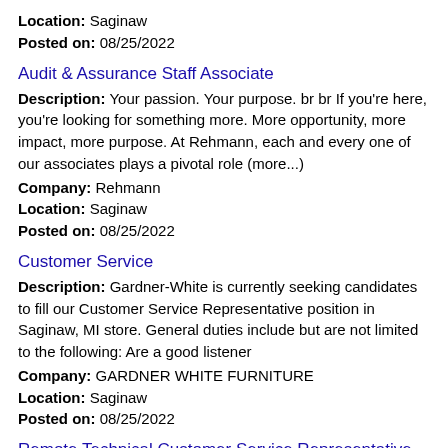Location: Saginaw
Posted on: 08/25/2022
Audit & Assurance Staff Associate
Description: Your passion. Your purpose. br br If you're here, you're looking for something more. More opportunity, more impact, more purpose. At Rehmann, each and every one of our associates plays a pivotal role (more...)
Company: Rehmann
Location: Saginaw
Posted on: 08/25/2022
Customer Service
Description: Gardner-White is currently seeking candidates to fill our Customer Service Representative position in Saginaw, MI store. General duties include but are not limited to the following: Are a good listener
Company: GARDNER WHITE FURNITURE
Location: Saginaw
Posted on: 08/25/2022
Remote Technical Customer Service Representative
Description: An information technology services and consulting company is seeking a Remote Technical Customer Service